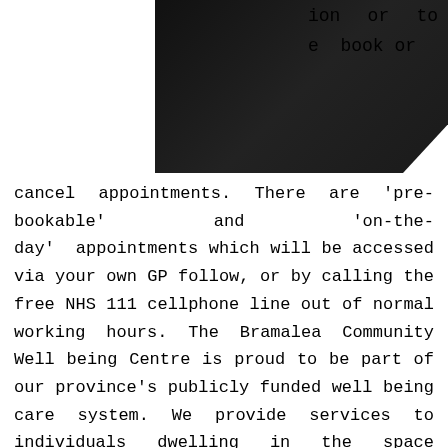[Figure (photo): Black and white portrait photo of a person wearing a dark top with a white collar/V-neck visible at bottom]
ion or to e book or cancel appointments. There are 'pre-bookable' and 'on-the-day' appointments which will be accessed via your own GP follow, or by calling the free NHS 111 cellphone line out of normal working hours. The Bramalea Community Well being Centre is proud to be part of our province's publicly funded well being care system. We provide services to individuals dwelling in the space bordered by Bloor Avenue, Yonge Avenue, the Lakeshore, and Parkside Drive.Please name us between 8:30am and 5pm to arrange an urgent PEP consultation—this consists of Wednesday mornings when our clinic is closed. Get medical